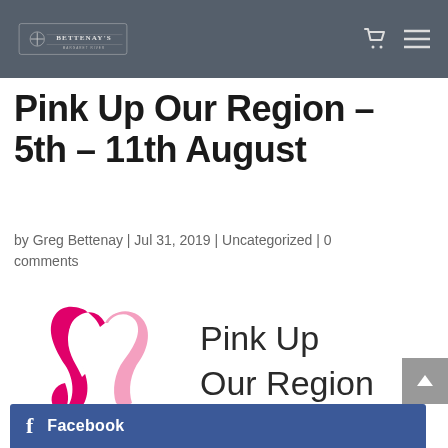BETTENAY'S MARGARET RIVER
Pink Up Our Region – 5th – 11th August
by Greg Bettenay | Jul 31, 2019 | Uncategorized | 0 comments
[Figure (logo): Pink Up Our Region logo featuring a pink ribbon and heart shape with the text 'Pink Up Our Region']
Facebook